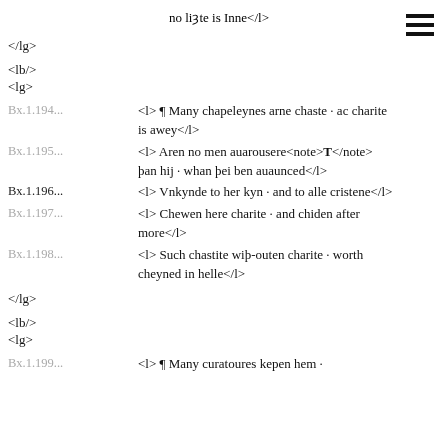no lizte is Inne</l>
</lg>
<lb/>
<lg>
Bx.1.194... <l> ¶ Many chapeleynes arne chaste · ac charite is awey</l>
Bx.1.195... <l> Aren no men auarousere<note>T</note> þan hij · whan þei ben auaunced</l>
Bx.1.196... <l> Vnkynde to her kyn · and to alle cristene</l>
Bx.1.197... <l> Chewen here charite · and chiden after more</l>
Bx.1.198... <l> Such chastite wiþ-outen charite · worth cheyned in helle</l>
</lg>
<lb/>
<lg>
Bx.1.199... <l> ¶ Many curatoures kepen hem ·